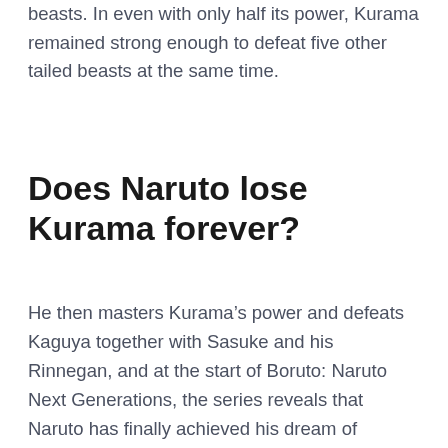beasts. In even with only half its power, Kurama remained strong enough to defeat five other tailed beasts at the same time.
Does Naruto lose Kurama forever?
He then masters Kurama’s power and defeats Kaguya together with Sasuke and his Rinnegan, and at the start of Boruto: Naruto Next Generations, the series reveals that Naruto has finally achieved his dream of becoming the Hokage. Unfortunately, chapter 55 of the series has just claimed Kurama’s life.